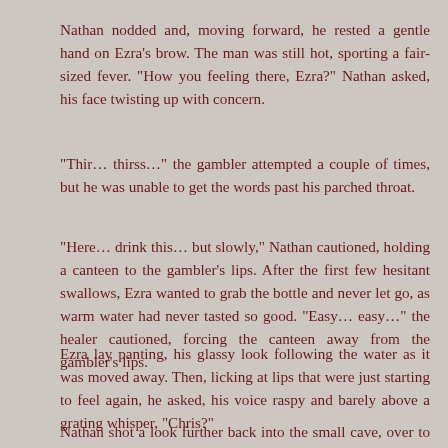Nathan nodded and, moving forward, he rested a gentle hand on Ezra's brow. The man was still hot, sporting a fair-sized fever. "How you feeling there, Ezra?" Nathan asked, his face twisting up with concern.
"Thir… thirss…" the gambler attempted a couple of times, but he was unable to get the words past his parched throat.
"Here… drink this… but slowly," Nathan cautioned, holding a canteen to the gambler's lips. After the first few hesitant swallows, Ezra wanted to grab the bottle and never let go, as warm water had never tasted so good. "Easy… easy…" the healer cautioned, forcing the canteen away from the gambler's lips.
Ezra lay panting, his glassy look following the water as it was moved away. Then, licking at lips that were just starting to feel again, he asked, his voice raspy and barely above a grating whisper, "Chris?"
Nathan shot a look further back into the small cave, over to where Buck and Vin sat beside the other injured man. "He's doing all right, Ezra… sleeping at